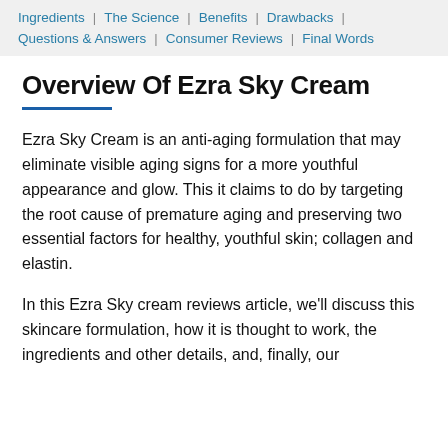Ingredients | The Science | Benefits | Drawbacks | Questions & Answers | Consumer Reviews | Final Words
Overview Of Ezra Sky Cream
Ezra Sky Cream is an anti-aging formulation that may eliminate visible aging signs for a more youthful appearance and glow. This it claims to do by targeting the root cause of premature aging and preserving two essential factors for healthy, youthful skin; collagen and elastin.
In this Ezra Sky cream reviews article, we'll discuss this skincare formulation, how it is thought to work, the ingredients and other details, and, finally, our